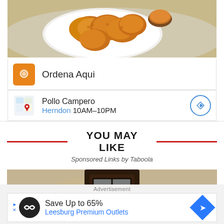[Figure (photo): Photo of fried chicken nuggets on a white plate with a small cup of dipping sauce, on a gray napkin]
Ordena Aqui
Pollo Campero
Herndon 10AM-10PM
YOU MAY LIKE
Sponsored Links by Taboola
[Figure (photo): Photo of an outdoor wall lantern light fixture mounted on a stucco wall]
Advertisement
Save Up to 65%
Leesburg Premium Outlets